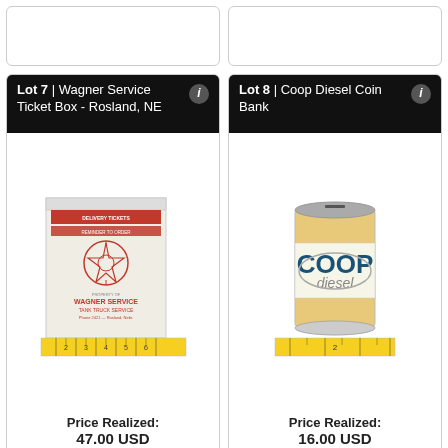[Figure (photo): Partial top of auction lot card (left), cut off at top]
[Figure (photo): Partial top of auction lot card (right), cut off at top]
Lot 7 | Wagner Service Ticket Box - Rosland, NE
[Figure (photo): Wagner Service Ticket Box with ruler for scale - white metal box with red text reading DELIVERY TICKETS, REMINDER TO ORDER, WAGNER SERVICE TANK TRUCK SERVICE, Phone 2421 - Rosland, Nebr.]
Price Realized: 47.00 USD
Lot 8 | Coop Diesel Coin Bank
[Figure (photo): Coop Diesel coin bank - cylindrical metal can with COOP diesel label, coin slot on top, ruler for scale]
Price Realized: 16.00 USD
Lot 9 | John Deere Day 150th Year Raingauge - New
Lot 10 | Farmer's Union Association John Deere Rain